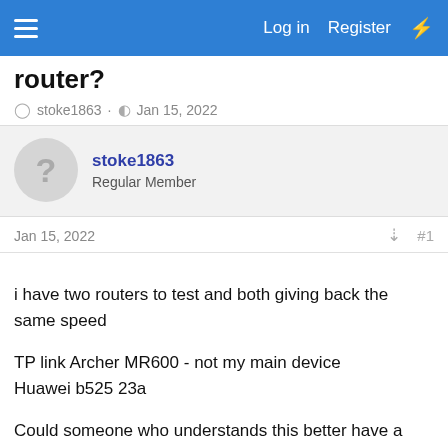Log in  Register
router?
stoke1863 · Jan 15, 2022
stoke1863
Regular Member
Jan 15, 2022  #1
i have two routers to test and both giving back the same speed

TP link Archer MR600 - not my main device
Huawei b525 23a

Could someone who understands this better have a look why i cant get even close the speeds i get on my mobile. Looks like my router isnt putting it into 4g+?

Screenshots from cell mapper with sim in mobile, mobile is